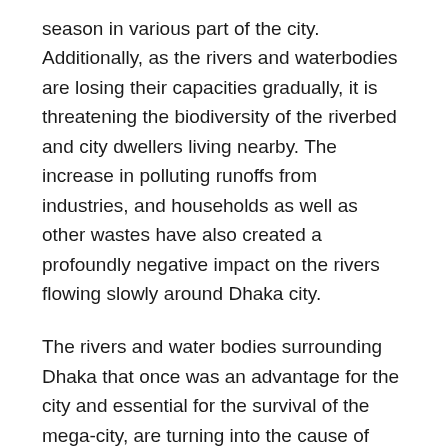season in various part of the city. Additionally, as the rivers and waterbodies are losing their capacities gradually, it is threatening the biodiversity of the riverbed and city dwellers living nearby. The increase in polluting runoffs from industries, and households as well as other wastes have also created a profoundly negative impact on the rivers flowing slowly around Dhaka city.
The rivers and water bodies surrounding Dhaka that once was an advantage for the city and essential for the survival of the mega-city, are turning into the cause of misery for the dwellers. These rivers once provided some unparalleled services to the citizens, including a drainage system, drinking water, source of food, and also transportation, but now the waterways are clogged as a